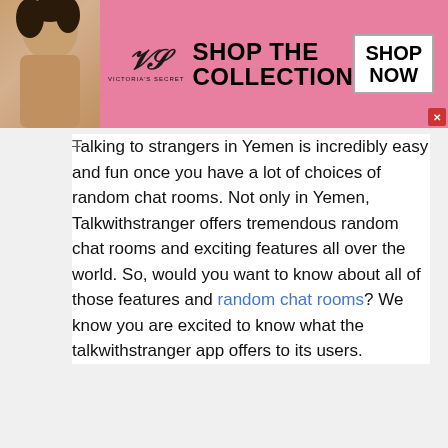[Figure (other): Victoria's Secret advertisement banner with model photo, VS logo, 'SHOP THE COLLECTION' text, and 'SHOP NOW' button on pink background]
Talking to strangers in Yemen is incredibly easy and fun once you have a lot of choices of random chat rooms. Not only in Yemen, Talkwithstranger offers tremendous random chat rooms and exciting features all over the world. So, would you want to know about all of those features and random chat rooms? We know you are excited to know what the talkwithstranger app offers to its users.
[Figure (other): Scroll-up button with upward chevron arrow on light blue/teal background]
Let's reveal how talking to strangers in Yemen is
[Figure (other): Bottom advertisement bar with two ads: 'Shop New and Used Car Deals Near You' (Ad by Car Deals Near You) with car image, and 'Top 20 Perfectly-Time Photos You Will Ever See!' (Ad by RilyNews) with beach photo]